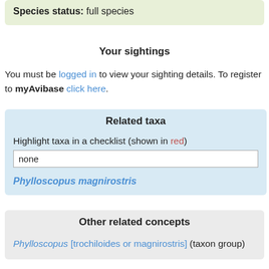Species status: full species
Your sightings
You must be logged in to view your sighting details. To register to myAvibase click here.
Related taxa
Highlight taxa in a checklist (shown in red)
none
Phylloscopus magnirostris
Other related concepts
Phylloscopus [trochiloides or magnirostris] (taxon group)